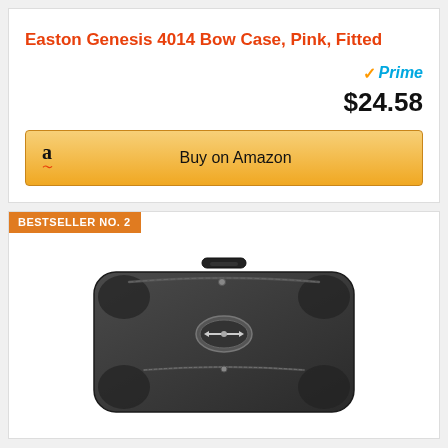Easton Genesis 4014 Bow Case, Pink, Fitted
Prime
$24.58
Buy on Amazon
BESTSELLER NO. 2
[Figure (photo): Black bow case / archery bag with top handle, zipper pockets, and OGIO logo emblem on front, viewed from slight angle]